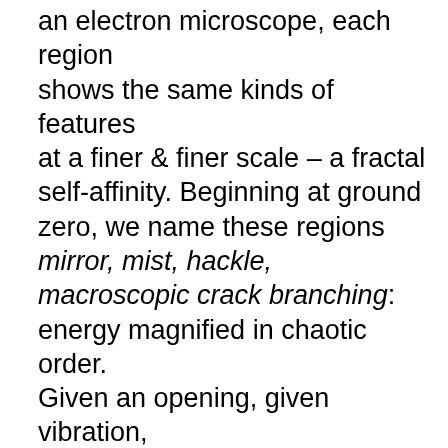an electron microscope, each region shows the same kinds of features at a finer & finer scale – a fractal self-affinity. Beginning at ground zero, we name these regions mirror, mist, hackle, macroscopic crack branching: energy magnified in chaotic order. Given an opening, given vibration, atoms in the amorphous silica will change partners – a choreography of rings that first contract, then join together, encircling ever larger volumes until the last bonds fail & the atoms dance irrevocably